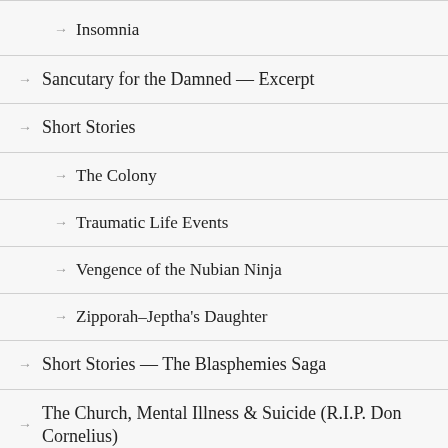Insomnia
Sancutary for the Damned — Excerpt
Short Stories
The Colony
Traumatic Life Events
Vengence of the Nubian Ninja
Zipporah–Jeptha's Daughter
Short Stories — The Blasphemies Saga
The Church, Mental Illness & Suicide (R.I.P. Don Cornelius)